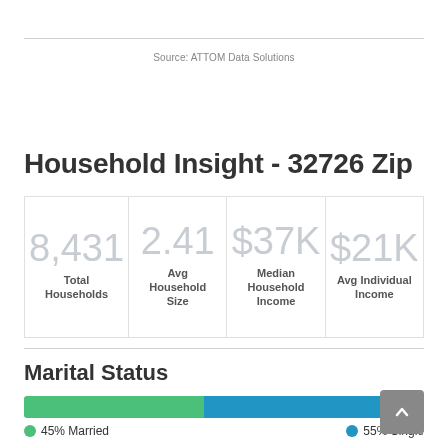Source: ATTOM Data Solutions
Household Insight - 32726 Zip
| Total Households | Avg Household Size | Median Household Income | Avg Individual Income |
| --- | --- | --- | --- |
| 8,431 | 2.41 | $37K | $21K |
Marital Status
[Figure (stacked-bar-chart): Marital Status]
45% Married
55% Single